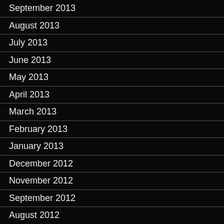September 2013
August 2013
July 2013
June 2013
May 2013
April 2013
March 2013
February 2013
January 2013
December 2012
November 2012
September 2012
August 2012